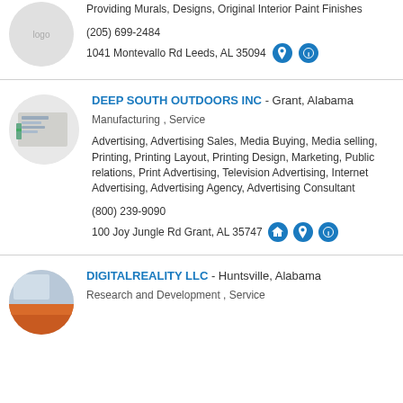Providing Murals, Designs, Original Interior Paint Finishes
(205) 699-2484
1041 Montevallo Rd Leeds, AL 35094
DEEP SOUTH OUTDOORS INC - Grant, Alabama
Manufacturing , Service
Advertising, Advertising Sales, Media Buying, Media selling, Printing, Printing Layout, Printing Design, Marketing, Public relations, Print Advertising, Television Advertising, Internet Advertising, Advertising Agency, Advertising Consultant
(800) 239-9090
100 Joy Jungle Rd Grant, AL 35747
DIGITALREALITY LLC - Huntsville, Alabama
Research and Development , Service